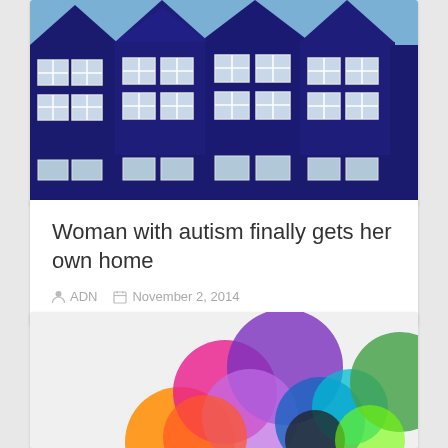[Figure (photo): Row of blue/navy wooden houses with white-framed windows, multiple gabled roofs against a blue sky]
Woman with autism finally gets her own home
ADN  November 2, 2014
[Figure (photo): Colorful overlapping translucent circles in pink, purple, blue, orange, green, teal on white background - Apple event style graphic]